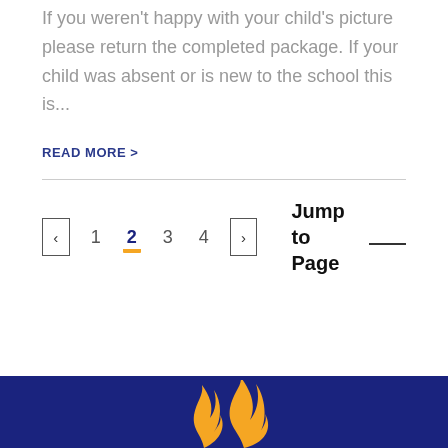If you weren't happy with your child's picture please return the completed package. If your child was absent or is new to the school this is...
READ MORE >
< 1 2 3 4 > Jump to Page
[Figure (logo): School flame logo in yellow/gold on dark navy blue footer background]